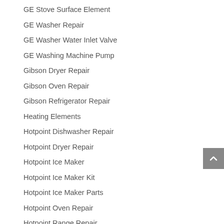GE Stove Surface Element
GE Washer Repair
GE Washer Water Inlet Valve
GE Washing Machine Pump
Gibson Dryer Repair
Gibson Oven Repair
Gibson Refrigerator Repair
Heating Elements
Hotpoint Dishwasher Repair
Hotpoint Dryer Repair
Hotpoint Ice Maker
Hotpoint Ice Maker Kit
Hotpoint Ice Maker Parts
Hotpoint Oven Repair
Hotpoint Range Repair